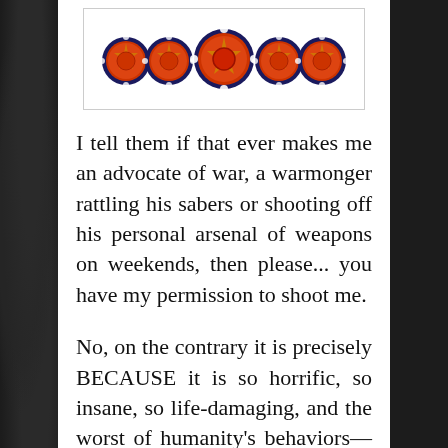[Figure (illustration): Five circular military medals or insignia arranged in a row on a white background with a thin border. The medals are red/orange with dark navy blue borders and star decorations. The center medal is larger than the others.]
I tell them if that ever makes me an advocate of war, a warmonger rattling his sabers or shooting off his personal arsenal of weapons on weekends, then please... you have my permission to shoot me.
No, on the contrary it is precisely BECAUSE it is so horrific, so insane, so life-damaging, and the worst of humanity's behaviors—witnessed by combat soldiers returning home